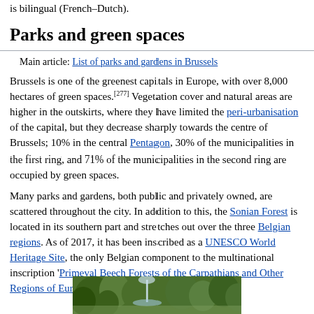is bilingual (French–Dutch).
Parks and green spaces
Main article: List of parks and gardens in Brussels
Brussels is one of the greenest capitals in Europe, with over 8,000 hectares of green spaces.[277] Vegetation cover and natural areas are higher in the outskirts, where they have limited the peri-urbanisation of the capital, but they decrease sharply towards the centre of Brussels; 10% in the central Pentagon, 30% of the municipalities in the first ring, and 71% of the municipalities in the second ring are occupied by green spaces.
Many parks and gardens, both public and privately owned, are scattered throughout the city. In addition to this, the Sonian Forest is located in its southern part and stretches out over the three Belgian regions. As of 2017, it has been inscribed as a UNESCO World Heritage Site, the only Belgian component to the multinational inscription 'Primeval Beech Forests of the Carpathians and Other Regions of Europe'.
[Figure (photo): Photo of a park or green space in Brussels, showing trees and a fountain]